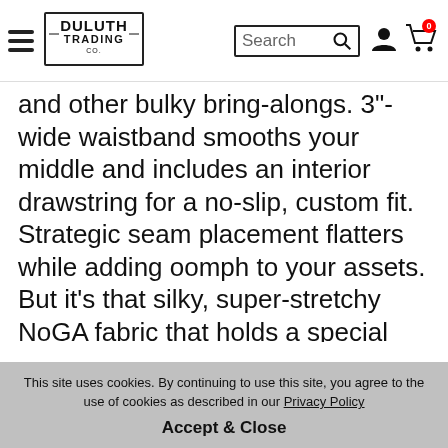Duluth Trading Co. navigation bar with hamburger menu, logo, search bar, user icon, and cart icon
and other bulky bring-alongs. 3"-wide waistband smooths your middle and includes an interior drawstring for a no-slip, custom fit. Strategic seam placement flatters while adding oomph to your assets. But it's that silky, super-stretchy NoGA fabric that holds a special place in the hearts of so many Duluth Women. More than a thousand total five-star reviews can't be wrong!
FEATURES
Performance NoGA Bootcut Pants upgraded with larger, smarter pockets — so you can take on more and take more with you!
(partially visible second list item)
This site uses cookies. By continuing to use this site, you agree to the use of cookies as described in our Privacy Policy
Accept & Close